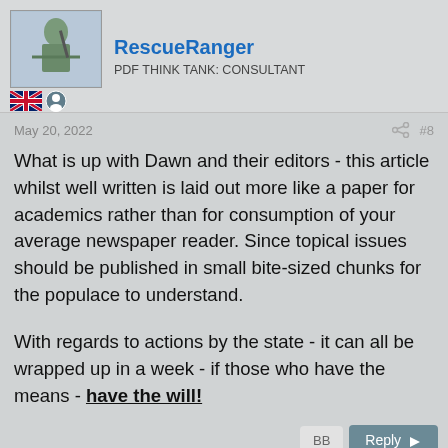RescueRanger
PDF THINK TANK: CONSULTANT
May 20, 2022  #8
What is up with Dawn and their editors - this article whilst well written is laid out more like a paper for academics rather than for consumption of your average newspaper reader. Since topical issues should be published in small bite-sized chunks for the populace to understand.

With regards to actions by the state - it can all be wrapped up in a week - if those who have the means - have the will!
Taimur Khurram
ELITE MEMBER